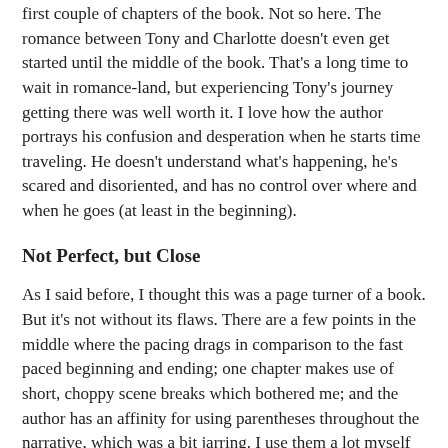first couple of chapters of the book. Not so here. The romance between Tony and Charlotte doesn't even get started until the middle of the book. That's a long time to wait in romance-land, but experiencing Tony's journey getting there was well worth it. I love how the author portrays his confusion and desperation when he starts time traveling. He doesn't understand what's happening, he's scared and disoriented, and has no control over where and when he goes (at least in the beginning).
Not Perfect, but Close
As I said before, I thought this was a page turner of a book. But it's not without its flaws. There are a few points in the middle where the pacing drags in comparison to the fast paced beginning and ending; one chapter makes use of short, choppy scene breaks which bothered me; and the author has an affinity for using parentheses throughout the narrative, which was a bit jarring. I use them a lot myself (as you can tell), just not in my fiction writing. But these flaws were minor, and didn't diminish the enjoyment of the book.
What Makes This A Perfect Indie Book